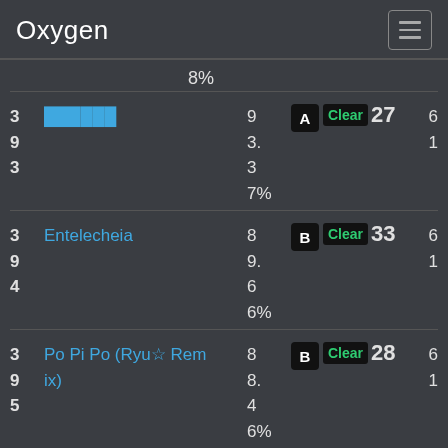Oxygen
8%
395 3 | ██████ | 9 3. 3 7% | A | Clear 27 | 6 1
394 3 | Entelecheia | 8 9. 6 6% | B | Clear 33 | 6 1
395 3 | Po Pi Po (Ryu☆ Remix) | 8 8. 4 6% | B | Clear 28 | 6 1